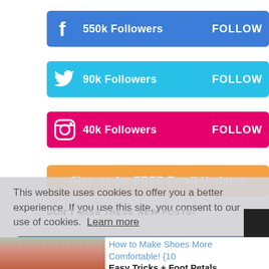[Figure (infographic): Facebook follow button: blue background, Facebook 'f' icon, '550k Followers', 'FOLLOW' text]
[Figure (infographic): Twitter follow button: cyan background, Twitter bird icon, '90k Followers', 'FOLLOW' text]
[Figure (infographic): Instagram follow button: pink/magenta background, Instagram camera icon, '40k Followers', 'FOLLOW' text]
[Figure (infographic): Orange button: 'Sign up for FREE Email Updates' with strikethrough styling]
This website uses cookies to offer you a better experience. If you use this site, you consent to our use of cookies. Learn more
I Agree
DON'T MISS THESE NEW POSTS!
How to Make Shoes More Comfortable! {10 Easy Tricks + Foot Petals